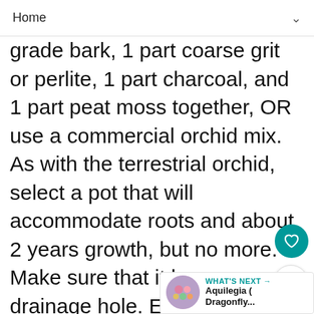Home
wil... grade bark, 1 part coarse grit or perlite, 1 part charcoal, and 1 part peat moss together, OR use a commercial orchid mix. As with the terrestrial orchid, select a pot that will accommodate roots and about 2 years growth, but no more. Make sure that it has a drainage hole. Even better, select an orchid pot, which has vertical slits down sides. Hold orchid over pot so that crown is just below the rim of the pot. With other hand, fill pot with moistened bark mix, tamping to firm. Some epiphytes do not need to be potted and prefer to grow on a mound or slab of bark. Until roots attach, tie orchid in place with fishing line. Constant humidity is a must. Support Orchids that have